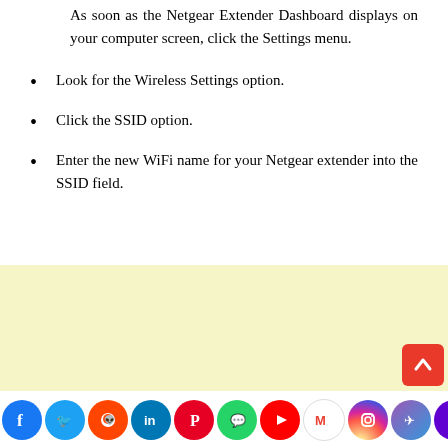As soon as the Netgear Extender Dashboard displays on your computer screen, click the Settings menu.
Look for the Wireless Settings option.
Click the SSID option.
Enter the new WiFi name for your Netgear extender into the SSID field.
[Figure (other): Yellow advertisement area background]
[Figure (other): Social media sharing icons bar: Facebook, Twitter, Reddit, LinkedIn, Pinterest, WhatsApp, YouTube, Gmail, Instagram, Messenger, Yahoo; plus scroll-to-top button]